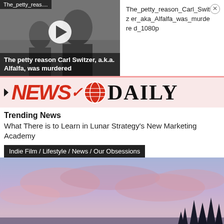[Figure (screenshot): Video thumbnail showing black and white photo of Carl Switzer (Alfalfa) with play button overlay and caption 'The petty reason Carl Switzer, a.k.a. Alfalfa, was murdered']
The_petty_reason_Carl_Switzer_aka_Alfalfa_was_murdered_1080p
[Figure (logo): News Daily logo with red hand-lettered NEWS text, globe icon, and serif DAILY text on pink background]
Trending News
What There is to Learn in Lunar Strategy's New Marketing Academy
Indie Film / Lifestyle / News / Our Obsessions
[Figure (photo): Twilight/sunset sky with purple and pink clouds, silhouette of pine trees at bottom right]